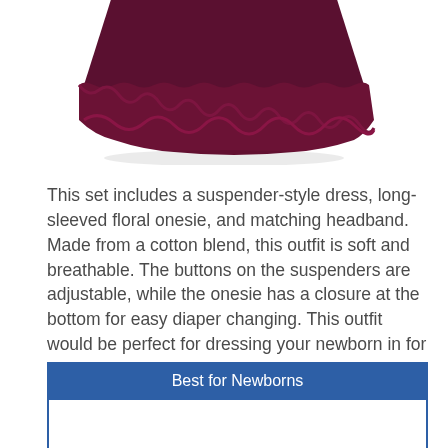[Figure (photo): Bottom portion of a dark maroon/burgundy ruffled suspender-style dress for newborns, showing ruffled hem detail against a white background.]
This set includes a suspender-style dress, long-sleeved floral onesie, and matching headband. Made from a cotton blend, this outfit is soft and breathable. The buttons on the suspenders are adjustable, while the onesie has a closure at the bottom for easy diaper changing. This outfit would be perfect for dressing your newborn in for a birthday party, holiday festivities, or a day out doing errands.
| Best for Newborns |
| --- |
|  |